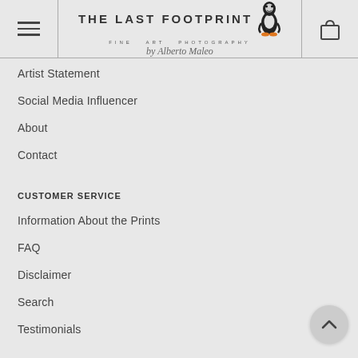THE LAST FOOTPRINT — FINE ART PHOTOGRAPHY by Alberto Moles
Artist Statement
Social Media Influencer
About
Contact
CUSTOMER SERVICE
Information About the Prints
FAQ
Disclaimer
Search
Testimonials
GET IN TOUCH